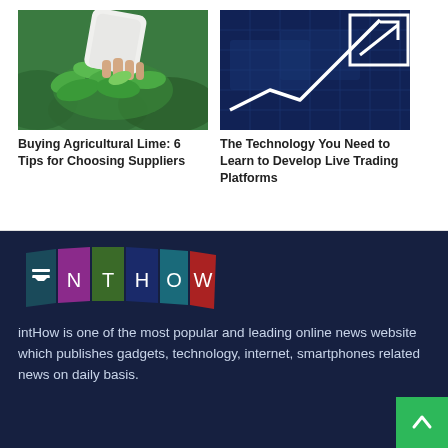[Figure (photo): Hand picking green tea leaves from a plant, agriculture/farming scene]
[Figure (photo): Digital financial chart with upward trending arrow on blue grid background representing live trading]
Buying Agricultural Lime: 6 Tips for Choosing Suppliers
The Technology You Need to Learn to Develop Live Trading Platforms
[Figure (logo): intHow logo - colorful segmented banner with letters I N T H O W]
intHow is one of the most popular and leading online news website which publishes gadgets, technology, internet, smartphones related news on daily basis.